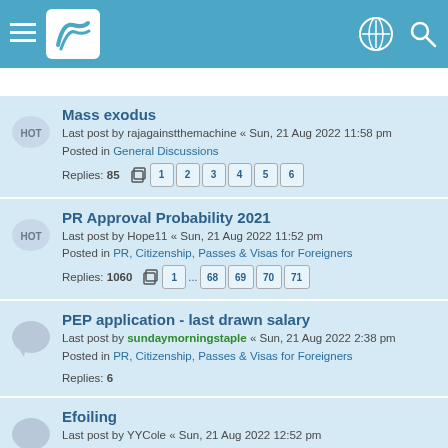Navigation bar with menu, logo, profile and search icons
Mass exodus
Last post by rajagainstthemachine « Sun, 21 Aug 2022 11:58 pm
Posted in General Discussions
Replies: 85
Pages: 1 2 3 4 5 6
PR Approval Probability 2021
Last post by Hope11 « Sun, 21 Aug 2022 11:52 pm
Posted in PR, Citizenship, Passes & Visas for Foreigners
Replies: 1060
Pages: 1 ... 68 69 70 71
PEP application - last drawn salary
Last post by sundaymorningstaple « Sun, 21 Aug 2022 2:38 pm
Posted in PR, Citizenship, Passes & Visas for Foreigners
Replies: 6
Efoiling
Last post by YYCole « Sun, 21 Aug 2022 12:52 pm
Posted in Sports & Recreational Partners & Team